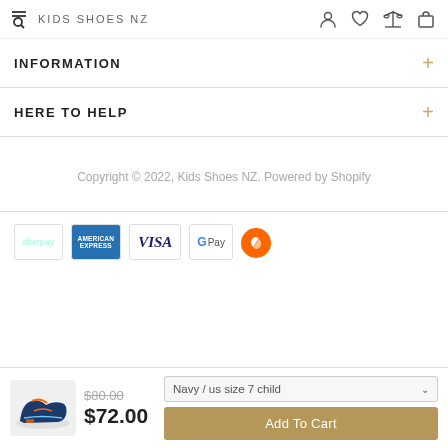KIDS SHOES NZ
INFORMATION
HERE TO HELP
Copyright © 2022, Kids Shoes NZ. Powered by Shopify
[Figure (logo): Payment method logos: Afterpay, American Express, Visa, GPay, Poli]
[Figure (photo): Navy/orange kids sneaker shoe]
$80.00 (strikethrough) $72.00
Navy / us size 7 child
Add To Cart